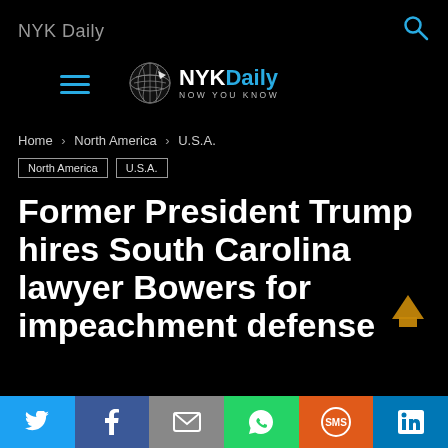NYK Daily
[Figure (logo): NYKDaily globe logo with text 'NYKDaily Now You Know']
Home › North America › U.S.A.
North America   U.S.A.
Former President Trump hires South Carolina lawyer Bowers for impeachment defense
[Figure (infographic): Social sharing bar with Twitter, Facebook, Email, WhatsApp, SMS, LinkedIn buttons]